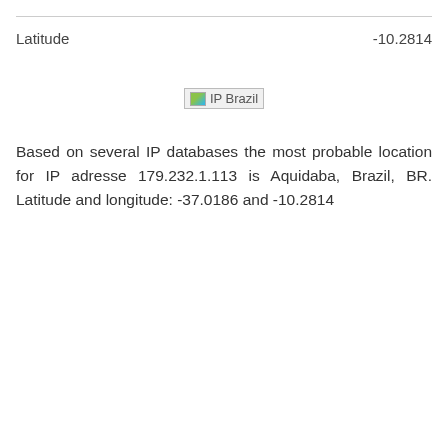| Latitude | -10.2814 |
| --- | --- |
[Figure (illustration): Broken image placeholder labeled 'IP Brazil']
Based on several IP databases the most probable location for IP adresse 179.232.1.113 is Aquidaba, Brazil, BR. Latitude and longitude: -37.0186 and -10.2814